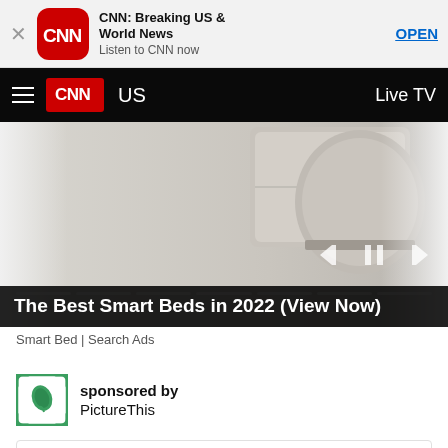[Figure (screenshot): App store banner for CNN: Breaking US & World News app with close button, CNN icon, title, subtitle and OPEN button]
CNN: Breaking US & World News
Listen to CNN now
OPEN
[Figure (screenshot): CNN navigation bar with hamburger menu, CNN logo, US section label, and Live TV link]
US
Live TV
[Figure (photo): Advertisement image showing a smart bed/furniture with media playback controls and progress bar segments]
The Best Smart Beds in 2022 (View Now)
Smart Bed | Search Ads
sponsored by PictureThis